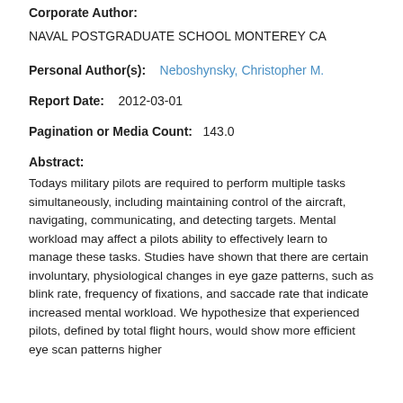Corporate Author:
NAVAL POSTGRADUATE SCHOOL MONTEREY CA
Personal Author(s):    Neboshynsky, Christopher M.
Report Date:    2012-03-01
Pagination or Media Count:    143.0
Abstract:
Todays military pilots are required to perform multiple tasks simultaneously, including maintaining control of the aircraft, navigating, communicating, and detecting targets. Mental workload may affect a pilots ability to effectively learn to manage these tasks. Studies have shown that there are certain involuntary, physiological changes in eye gaze patterns, such as blink rate, frequency of fixations, and saccade rate that indicate increased mental workload. We hypothesize that experienced pilots, defined by total flight hours, would show more efficient eye scan patterns higher